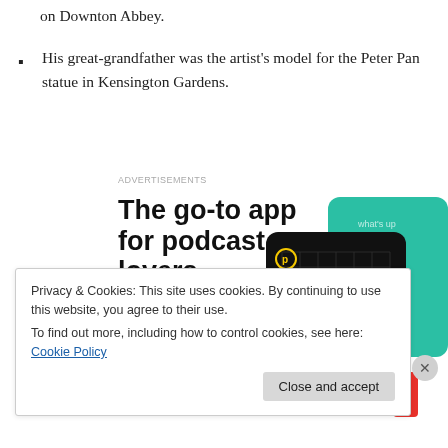on Downton Abbey.
His great-grandfather was the artist's model for the Peter Pan statue in Kensington Gardens.
[Figure (illustration): Advertisement banner for a podcast app. Shows text 'The go-to app for podcast lovers.' with 'Download now' in red, alongside images of podcast app cards including '99% Invisible' on a black card with yellow square, and a teal card with cursive 'On'.]
Privacy & Cookies: This site uses cookies. By continuing to use this website, you agree to their use.
To find out more, including how to control cookies, see here: Cookie Policy
Close and accept